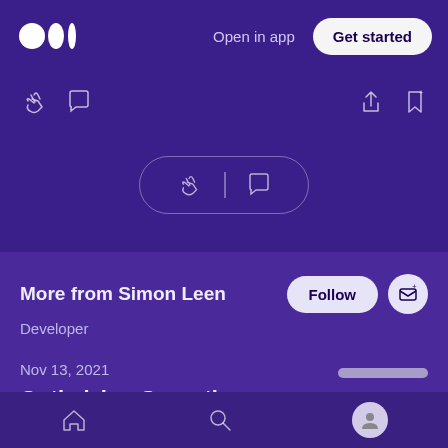Open in app | Get started
[Figure (screenshot): Medium app UI screenshot showing top bar with Medium logo, action icons, a floating pill with clap and comment icons, 'More from Simon Leen' section with Follow button, Developer label, date Nov 13 2021, article title 'Optimizing Coroutines', and bottom navigation bar]
More from Simon Leen
Developer
Nov 13, 2021
Optimizing Coroutines